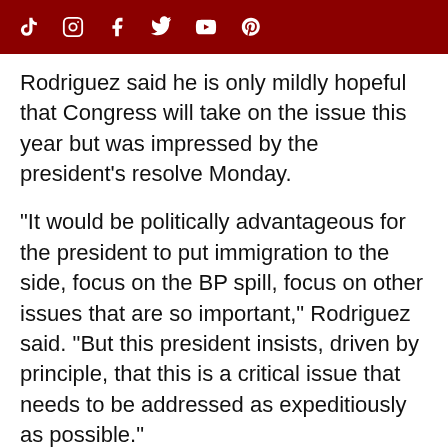[Social media icons: TikTok, Instagram, Facebook, Twitter, YouTube, Pinterest]
Rodriguez said he is only mildly hopeful that Congress will take on the issue this year but was impressed by the president's resolve Monday.
"It would be politically advantageous for the president to put immigration to the side, focus on the BP spill, focus on other issues that are so important," Rodriguez said. "But this president insists, driven by principle, that this is a critical issue that needs to be addressed as expeditiously as possible."
He said though immigration legislation may seem dead in the water, other bills have been